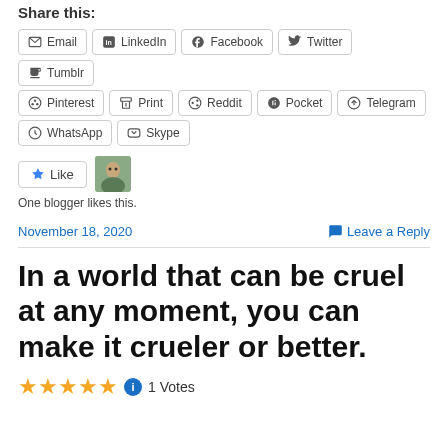Share this:
Email
LinkedIn
Facebook
Twitter
Tumblr
Pinterest
Print
Reddit
Pocket
Telegram
WhatsApp
Skype
One blogger likes this.
November 18, 2020
Leave a Reply
In a world that can be cruel at any moment, you can make it crueler or better.
1 Votes